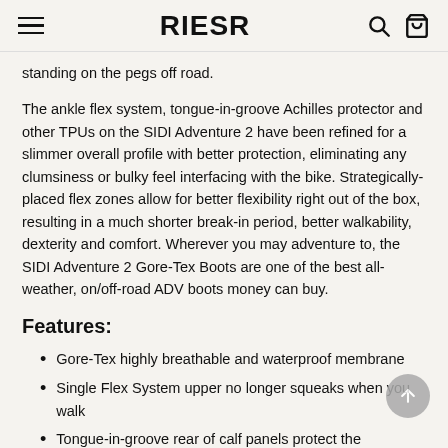RIESR
standing on the pegs off road.
The ankle flex system, tongue-in-groove Achilles protector and other TPUs on the SIDI Adventure 2 have been refined for a slimmer overall profile with better protection, eliminating any clumsiness or bulky feel interfacing with the bike. Strategically-placed flex zones allow for better flexibility right out of the box, resulting in a much shorter break-in period, better walkability, dexterity and comfort. Wherever you may adventure to, the SIDI Adventure 2 Gore-Tex Boots are one of the best all-weather, on/off-road ADV boots money can buy.
Features:
Gore-Tex highly breathable and waterproof membrane
Single Flex System upper no longer squeaks when you walk
Tongue-in-groove rear of calf panels protect the